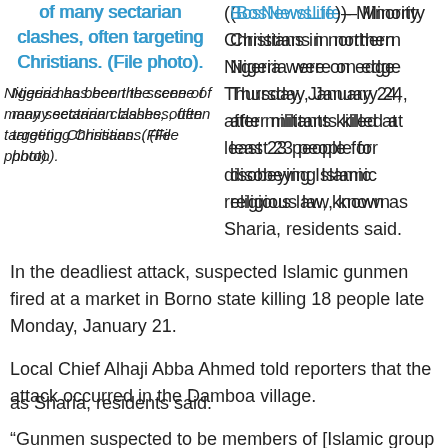of many sectarian clashes, often targeting Christians. (File photo).
Nigeria has been the scene of many sectarian clashes, often targeting Christians. (File photo).
(BosNewsLife)– Minority Christians in northern Nigeria were on edge Thursday, January 24, after militants killed at least 23 people for disobeying Islamic religious law, known as Sharia, residents said.
In the deadliest attack, suspected Islamic gunmen fired at a market in Borno state killing 18 people late Monday, January 21.
Local Chief Alhaji Abba Ahmed told reporters that the attack occurred in the Damboa village.
“Gunmen suspected to be members of [Islamic group Boko Haram] came to the town market and shot dead 13 local